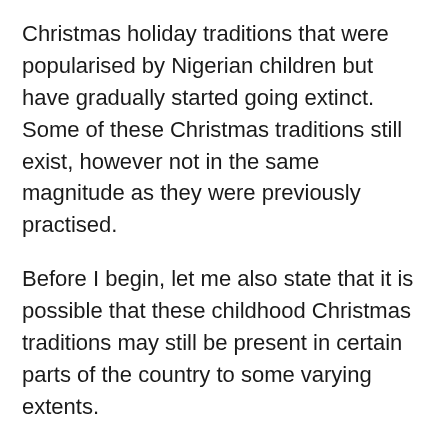Christmas holiday traditions that were popularised by Nigerian children but have gradually started going extinct. Some of these Christmas traditions still exist, however not in the same magnitude as they were previously practised.
Before I begin, let me also state that it is possible that these childhood Christmas traditions may still be present in certain parts of the country to some varying extents.
1. Christmas Balloons Lottery
Balloons have a special feel to the Christm...